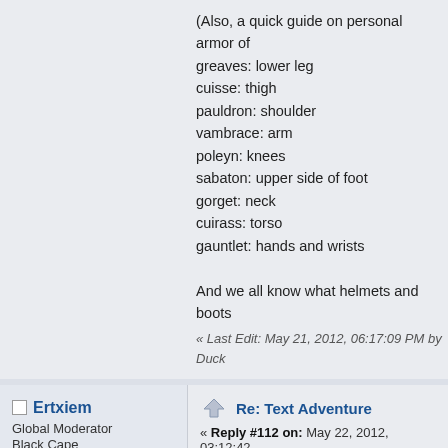(Also, a quick guide on personal armor of
greaves: lower leg
cuisse: thigh
pauldron: shoulder
vambrace: arm
poleyn: knees
sabaton: upper side of foot
gorget: neck
cuirass: torso
gauntlet: hands and wrists
And we all know what helmets and boots
« Last Edit: May 21, 2012, 06:17:09 PM by Duck
Ertxiem
Global Moderator
Black Cape
Posts: 627
Re: Text Adventure
« Reply #112 on: May 22, 2012, 03:12:42
(Assuming that the armour is of the right s
Equip skeleton's armour except cuirass.
(I'm also assuming we still have the baseb
Go to the armoury (as carefully as possib